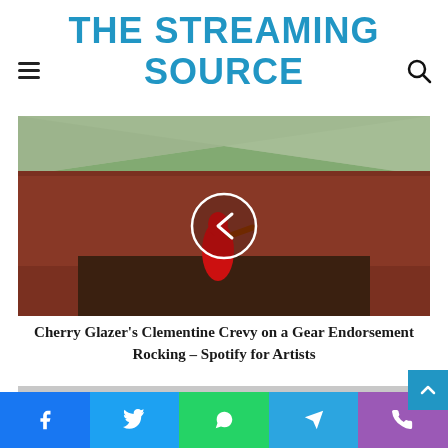THE STREAMING SOURCE
[Figure (photo): Concert photo showing a guitarist performing on stage viewed from behind, facing a large crowd under a tent canopy outdoors, with a circular left-arrow navigation button overlay in the center]
Cherry Glazer's Clementine Crevy on a Gear Endorsement Rocking – Spotify for Artists
[Figure (photo): Second article image, partially visible gray placeholder with a circular play button indicator at bottom]
Facebook | Twitter | WhatsApp | Telegram | Phone